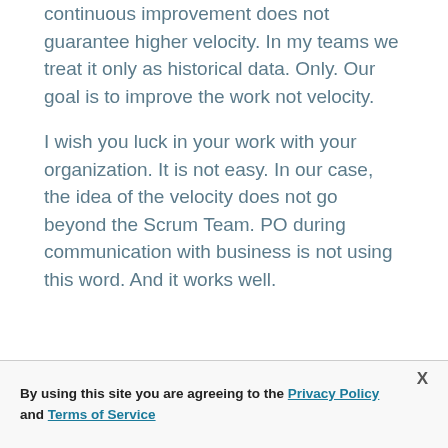continuous improvement does not guarantee higher velocity. In my teams we treat it only as historical data. Only. Our goal is to improve the work not velocity.
I wish you luck in your work with your organization. It is not easy. In our case, the idea of the velocity does not go beyond the Scrum Team. PO during communication with business is not using this word. And it works well.
By using this site you are agreeing to the Privacy Policy and Terms of Service